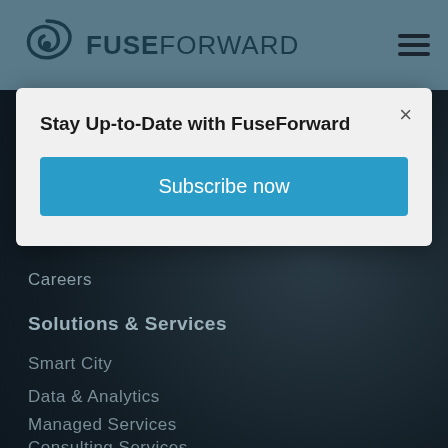[Figure (logo): FuseForward logo with spiral icon and text]
Stay Up-to-Date with FuseForward
Subscribe now
Careers
Solutions & Services
Smart City
Data & Analytics
Managed Services
Consulting Services